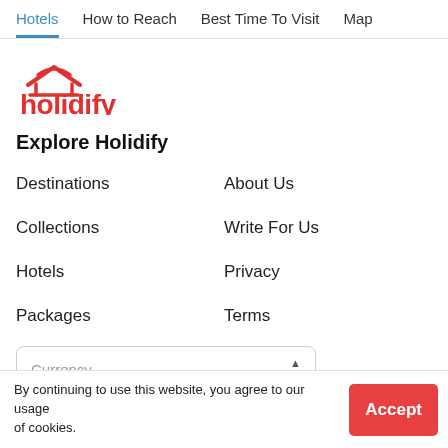Hotels | How to Reach | Best Time To Visit | Map
[Figure (logo): Holidify logo in red with stylized house/sun icon above text]
Explore Holidify
Destinations
About Us
Collections
Write For Us
Hotels
Privacy
Packages
Terms
Currency (dropdown selector)
By continuing to use this website, you agree to our usage of cookies.